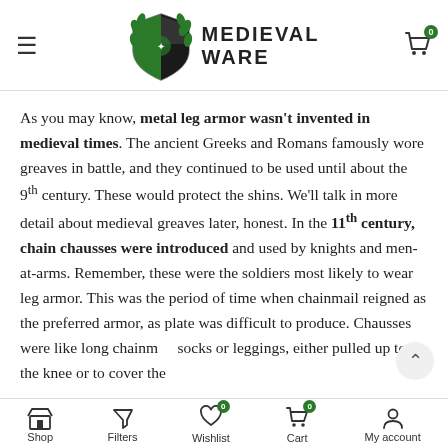Medieval Ware — navigation header with logo
As you may know, metal leg armor wasn't invented in medieval times. The ancient Greeks and Romans famously wore greaves in battle, and they continued to be used until about the 9th century. These would protect the shins. We'll talk in more detail about medieval greaves later, honest. In the 11th century, chain chausses were introduced and used by knights and men-at-arms. Remember, these were the soldiers most likely to wear leg armor. This was the period of time when chainmail reigned as the preferred armor, as plate was difficult to produce. Chausses were like long chainmail socks or leggings, either pulled up to the knee or to cover the
Shop | Filters | Wishlist 0 | Cart 0 | My account